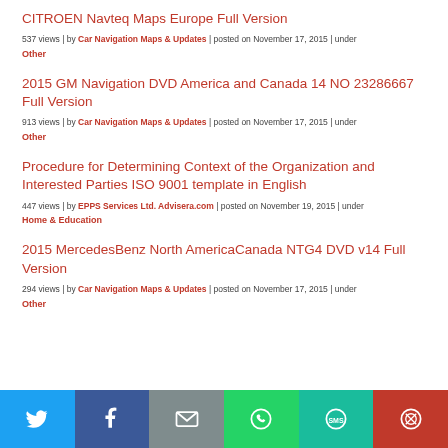CITROEN Navteq Maps Europe Full Version
537 views | by Car Navigation Maps & Updates | posted on November 17, 2015 | under
Other
2015 GM Navigation DVD America and Canada 14 NO 23286667 Full Version
913 views | by Car Navigation Maps & Updates | posted on November 17, 2015 | under
Other
Procedure for Determining Context of the Organization and Interested Parties ISO 9001 template in English
447 views | by EPPS Services Ltd. Advisera.com | posted on November 19, 2015 | under
Home & Education
2015 MercedesBenz North AmericaCanada NTG4 DVD v14 Full Version
294 views | by Car Navigation Maps & Updates | posted on November 17, 2015 | under
Other
[Figure (infographic): Social sharing bar with Twitter, Facebook, Email, WhatsApp, SMS, and More buttons]